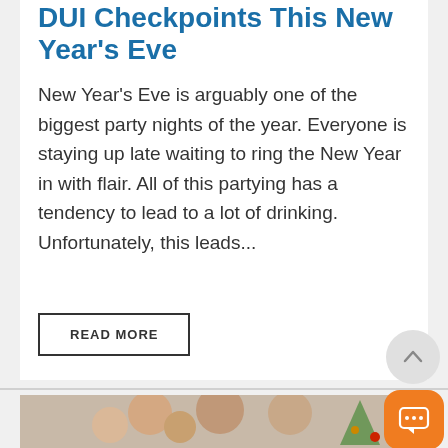DUI Checkpoints This New Year's Eve
New Year's Eve is arguably one of the biggest party nights of the year. Everyone is staying up late waiting to ring the New Year in with flair. All of this partying has a tendency to lead to a lot of drinking. Unfortunately, this leads...
READ MORE
[Figure (photo): Family photo with adults and children near a Christmas tree]